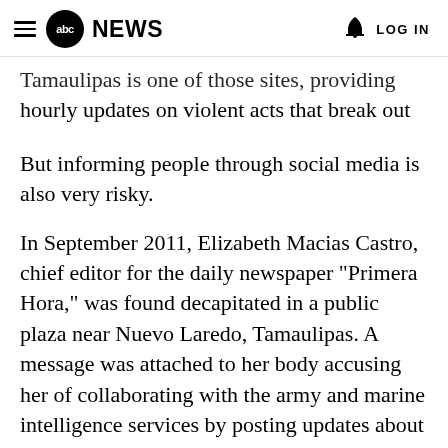abc NEWS  LOG IN
Tamaulipas is one of those sites, providing hourly updates on violent acts that break out across the state.
But informing people through social media is also very risky.
In September 2011, Elizabeth Macias Castro, chief editor for the daily newspaper "Primera Hora," was found decapitated in a public plaza near Nuevo Laredo, Tamaulipas. A message was attached to her body accusing her of collaborating with the army and marine intelligence services by posting updates about criminal activities in the city on her personal